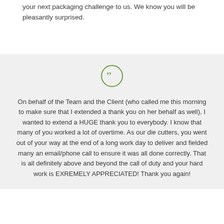your next packaging challenge to us. We know you will be pleasantly surprised.
On behalf of the Team and the Client (who called me this morning to make sure that I extended a thank you on her behalf as well), I wanted to extend a HUGE thank you to everybody. I know that many of you worked a lot of overtime. As our die cutters, you went out of your way at the end of a long work day to deliver and fielded many an email/phone call to ensure it was all done correctly. That is all definitely above and beyond the call of duty and your hard work is EXREMELY APPRECIATED! Thank you again!